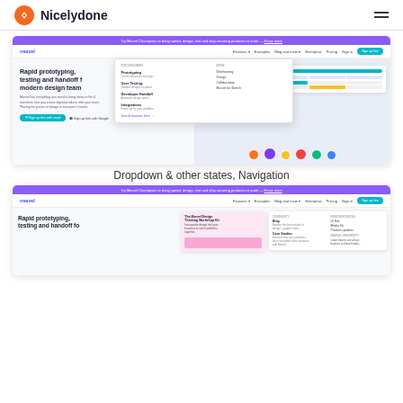Nicelydone
[Figure (screenshot): Screenshot of Marvel app website showing dropdown navigation menu open over the homepage with 'Rapid prototyping, testing and handoff for modern design teams' heading]
Dropdown & other states, Navigation
[Figure (screenshot): Second screenshot of Marvel app website showing another dropdown/navigation state with community and resources columns visible]